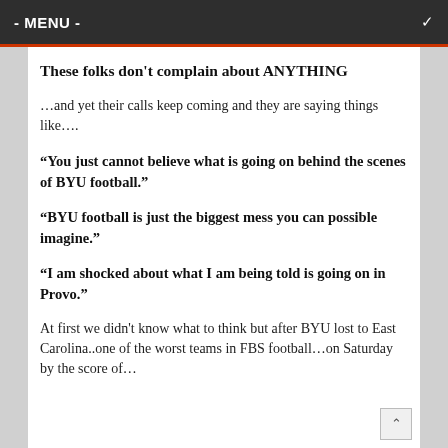- MENU -
These folks don't complain about ANYTHING
…and yet their calls keep coming and they are saying things like….
“You just cannot believe what is going on behind the scenes of BYU football.”
“BYU football is just the biggest mess you can possible imagine.”
“I am shocked about what I am being told is going on in Provo.”
At first we didn't know what to think but after BYU lost to East Carolina..one of the worst teams in FBS football…on Saturday by the score of…